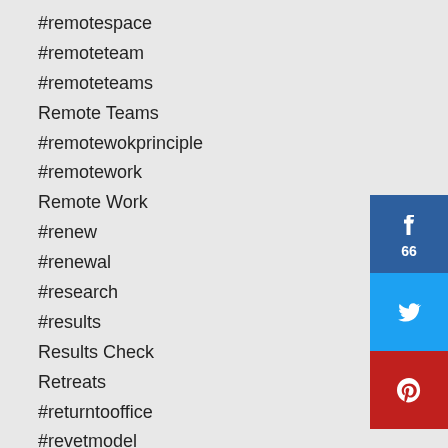#remotespace
#remoteteam
#remoteteams
Remote Teams
#remotewokprinciple
#remotework
Remote Work
#renew
#renewal
#research
#results
Results Check
Retreats
#returntooffice
#revetmodel
#review
#rewards
#rhythms
Roles
[Figure (other): Facebook share button with count 66, Twitter share button, Pinterest share button]